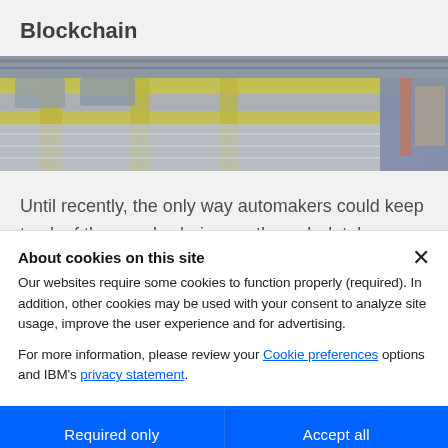Blockchain
[Figure (photo): Factory conveyor belt with yellow structural elements and industrial equipment]
Until recently, the only way automakers could keep track of the supply chain was through databases and
About cookies on this site
Our websites require some cookies to function properly (required). In addition, other cookies may be used with your consent to analyze site usage, improve the user experience and for advertising.
For more information, please review your Cookie preferences options and IBM's privacy statement.
Required only
Accept all